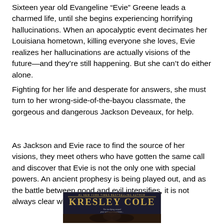Sixteen year old Evangeline “Evie” Greene leads a charmed life, until she begins experiencing horrifying hallucinations. When an apocalyptic event decimates her Louisiana hometown, killing everyone she loves, Evie realizes her hallucinations are actually visions of the future—and they’re still happening. But she can’t do either alone.
Fighting for her life and desperate for answers, she must turn to her wrong-side-of-the-bayou classmate, the gorgeous and dangerous Jackson Deveaux, for help.
As Jackson and Evie race to find the source of her visions, they meet others who have gotten the same call and discover that Evie is not the only one with special powers. An ancient prophesy is being played out, and as the battle between good and evil intensifies, it is not always clear who is on which side.
[Figure (illustration): Book cover for a novel by Kresley Cole, a #1 New York Times Bestselling Author. Dark background with decorative text and a figure/hands image.]